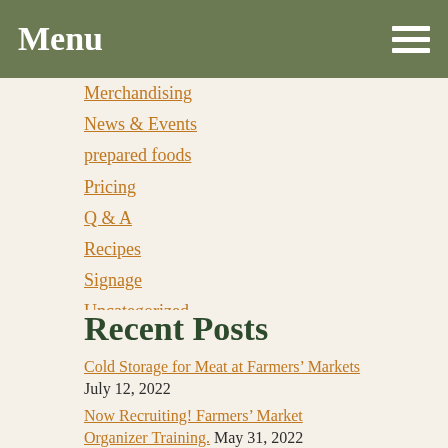Menu
Merchandising
News & Events
prepared foods
Pricing
Q & A
Recipes
Signage
Uncategorized
USDA
WIC
Recent Posts
Cold Storage for Meat at Farmers' Markets July 12, 2022
Now Recruiting! Farmers' Market Organizer Training. May 31, 2022
Unique Workplace Wellness Program Available for Health-Minded Employers March 29, 2022